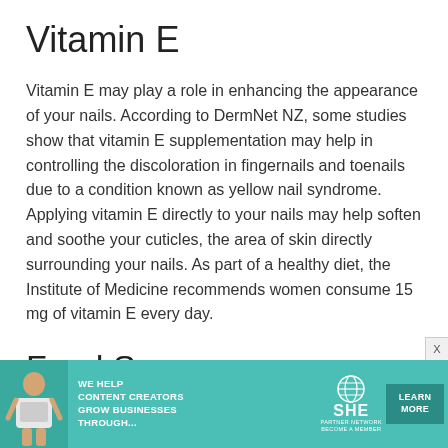Vitamin E
Vitamin E may play a role in enhancing the appearance of your nails. According to DermNet NZ, some studies show that vitamin E supplementation may help in controlling the discoloration in fingernails and toenails due to a condition known as yellow nail syndrome. Applying vitamin E directly to your nails may help soften and soothe your cuticles, the area of skin directly surrounding your nails. As part of a healthy diet, the Institute of Medicine recommends women consume 15 mg of vitamin E every day.
Food Sources
[Figure (infographic): Advertisement banner for SHE Media Partner Network with teal background, woman with laptop, text reading WE HELP CONTENT CREATORS GROW BUSINESSES THROUGH..., SHE logo with globe icon, PARTNER NETWORK BECOME A MEMBER text, and LEARN MORE button]